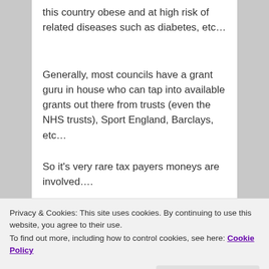this country obese and at high risk of related diseases such as diabetes, etc…
Generally, most councils have a grant guru in house who can tap into available grants out there from trusts (even the NHS trusts), Sport England, Barclays, etc…
So it's very rare tax payers moneys are involved….
Food for thought chaps…
Tony (Plymstock)
Privacy & Cookies: This site uses cookies. By continuing to use this website, you agree to their use.
To find out more, including how to control cookies, see here: Cookie Policy